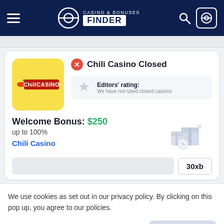[Figure (logo): Casino & Bonuses Finder logo in dark navy header with hamburger menu, search icon, and user icon]
[Figure (logo): Chili Casino logo - yellow rounded square with ChiliCasino red banner text]
Chili Casino Closed
Editors' rating: We have not rated closed casinos
Welcome Bonus: $250 up to 100%
Chili Casino
30xb
We use cookies as set out in our privacy policy. By clicking on this pop up, you agree to our policies.
Read the privacy policy
It's OK For Me